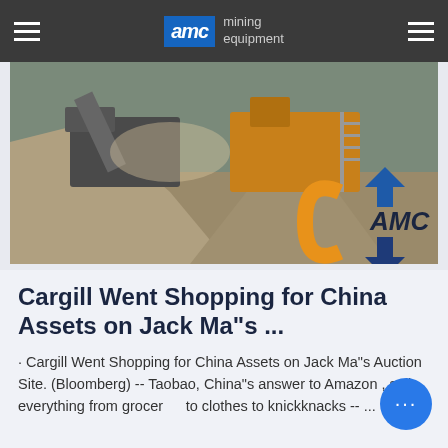AMC mining equipment
[Figure (photo): Mining equipment machinery operating on a quarry site with gravel and dust, AMC logo watermark visible in the lower right corner]
Cargill Went Shopping for China Assets on Jack Ma"s ...
· Cargill Went Shopping for China Assets on Jack Ma"s Auction Site. (Bloomberg) -- Taobao, China"s answer to Amazon , sells everything from groceries to clothes to knickknacks -- ...